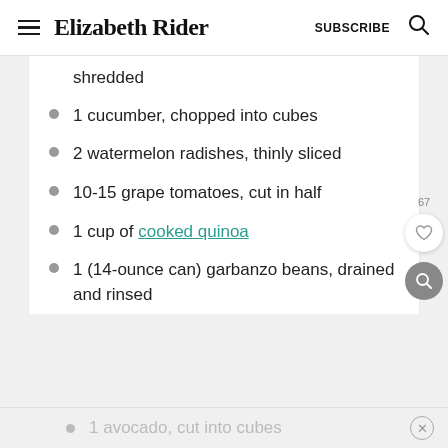Elizabeth Rider   SUBSCRIBE
shredded
1 cucumber, chopped into cubes
2 watermelon radishes, thinly sliced
10-15 grape tomatoes, cut in half
1 cup of cooked quinoa
1 (14-ounce can) garbanzo beans, drained and rinsed
1 avocado, cut into cubes